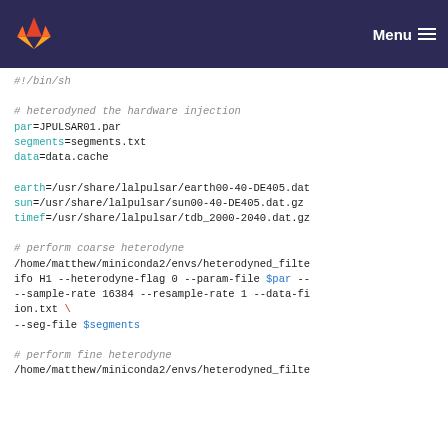GitLab navigation bar with logo and Menu
#!/bin/sh

# heterodyned the hardware injection
par=JPULSAR01.par
segments=segments.txt
data=data.cache

earth=/usr/share/lalpulsar/earth00-40-DE405.dat
sun=/usr/share/lalpulsar/sun00-40-DE405.dat.gz
timef=/usr/share/lalpulsar/tdb_2000-2040.dat.gz

# perform coarse heterodyne
/home/matthew/miniconda2/envs/heterodyned_filte
ifo H1 --heterodyne-flag 0 --param-file $par --
--sample-rate 16384 --resample-rate 1 --data-fi
ion.txt \
--seg-file $segments

# perform fine heterodyne
/home/matthew/miniconda2/envs/heterodyned_filte